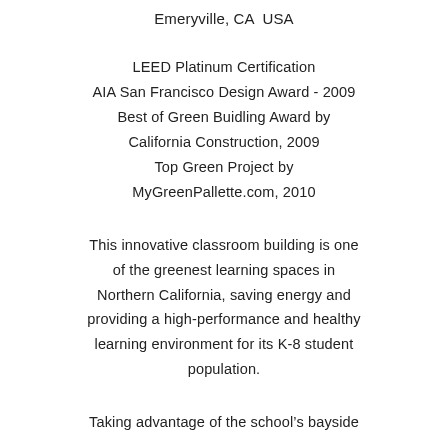Emeryville, CA  USA
LEED Platinum Certification
AIA San Francisco Design Award - 2009
Best of Green Buidling Award by California Construction, 2009
Top Green Project by MyGreenPallette.com, 2010
This innovative classroom building is one of the greenest learning spaces in Northern California, saving energy and providing a high-performance and healthy learning environment for its K-8 student population.
Taking advantage of the school’s bayside